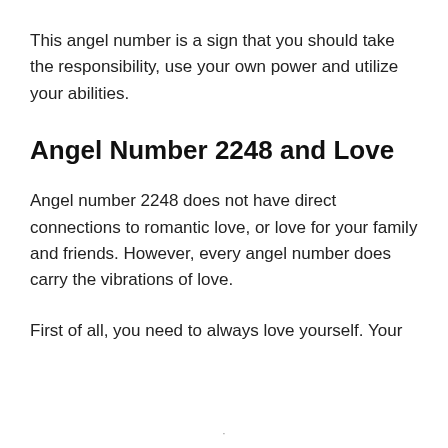This angel number is a sign that you should take the responsibility, use your own power and utilize your abilities.
Angel Number 2248 and Love
Angel number 2248 does not have direct connections to romantic love, or love for your family and friends. However, every angel number does carry the vibrations of love.
First of all, you need to always love yourself. Your